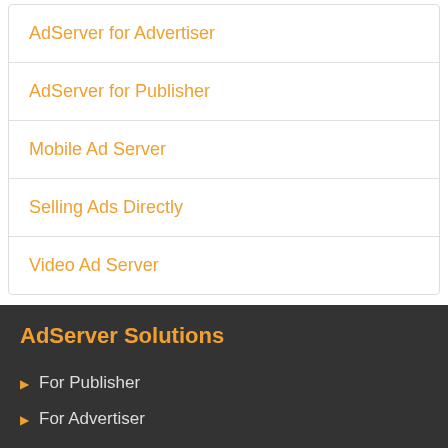AdServer for Advertiser
AdServer for Publisher
Mobile Ad Server
Selling Ads Directly
Video Ad Server
AdServer Solutions
For Publisher
For Advertiser
For Ad Agency
For Ad Network
Live Demo